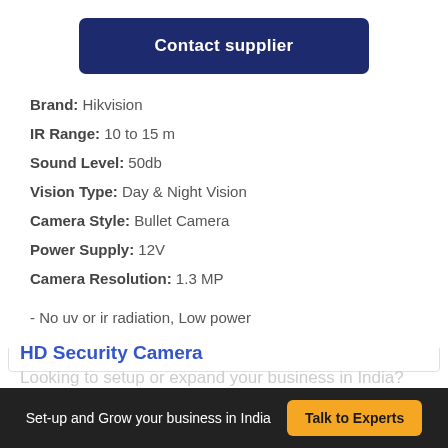Contact supplier
Brand: Hikvision
IR Range: 10 to 15 m
Sound Level: 50db
Vision Type: Day & Night Vision
Camera Style: Bullet Camera
Power Supply: 12V
Camera Resolution: 1.3 MP
- No uv or ir radiation, Low power
HD Security Camera
Looking to setup or expand your business in India?
Set-up and Grow your business in India   Talk to Experts